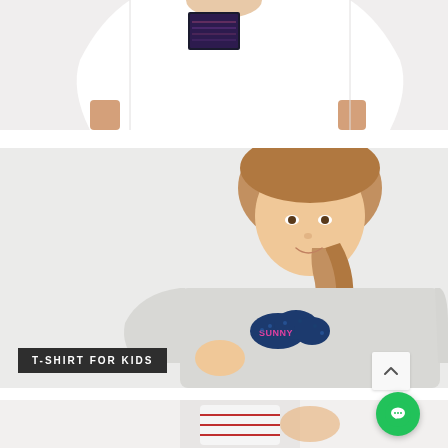[Figure (photo): Partial view of a man wearing a white t-shirt with a graphic patch on the chest, cropped to show torso and arms]
[Figure (photo): Young girl with a braided hairstyle wearing a grey long-sleeve t-shirt with a sequined cloud patch reading 'SUNNY', posing against a light background]
T-SHIRT FOR KIDS
[Figure (photo): Partial view of a child wearing a red and white patterned outfit, cropped at bottom of page]